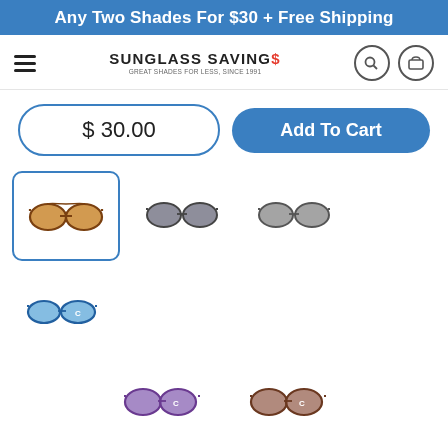Any Two Shades For $30 + Free Shipping
[Figure (screenshot): Sunglass Savings website navigation bar with hamburger menu, logo, search and cart icons]
$ 30.00
Add To Cart
[Figure (photo): Six sunglass product thumbnails: brown/amber (selected), dark grey, grey, blue, purple, brown-rose]
COLOR
Brown with Amber Lenses
DESCRIPTION   SHIPPING   30 DAY TRY-ONS